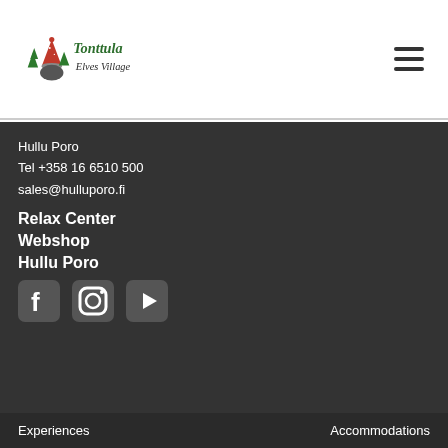[Figure (logo): Tonttula Elves Village logo with illustrated elf/gnome character and green trees, cursive script text]
Hullu Poro
Tel +358 16 6510 500
sales@hulluporo.fi
Relax Center
Webshop
Hullu Poro
[Figure (illustration): Social media icons: Facebook, Instagram, YouTube]
Experiences    Accommodations